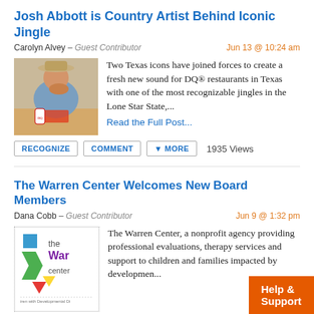Josh Abbott is Country Artist Behind Iconic Jingle
Carolyn Alvey – Guest Contributor   Jun 13 @ 10:24 am
[Figure (photo): Man in cowboy hat eating a burger at a Dairy Queen restaurant with a drink and food tray on the table]
Two Texas icons have joined forces to create a fresh new sound for DQ® restaurants in Texas with one of the most recognizable jingles in the Lone Star State,...
Read the Full Post...
RECOGNIZE   COMMENT   ▾ MORE   1935 Views
The Warren Center Welcomes New Board Members
Dana Cobb – Guest Contributor   Jun 9 @ 1:32 pm
[Figure (logo): The Warren Center logo with colorful shapes and text 'the Warren center — Children with Developmental Di...']
The Warren Center, a nonprofit agency providing professional evaluations, therapy services and support to children and families impacted by developmen...